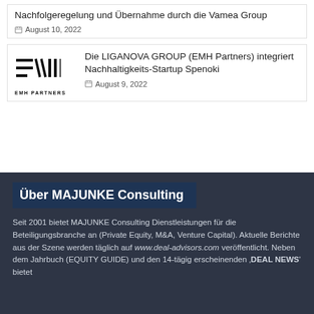Nachfolgeregelung und Übernahme durch die Vamea Group
August 10, 2022
[Figure (logo): EMH Partners logo — stylized lines and bars with text EMH PARTNERS below]
Die LIGANOVA GROUP (EMH Partners) integriert Nachhaltigkeits-Startup Spenoki
August 9, 2022
Über MAJUNKE Consulting
Seit 2001 bietet MAJUNKE Consulting Dienstleistungen für die Beteiligungsbranche an (Private Equity, M&A, Venture Capital). Aktuelle Berichte aus der Szene werden täglich auf www.deal-advisors.com veröffentlicht. Neben dem Jahrbuch (EQUITY GUIDE) und den 14-tägig erscheinenden ‚DEAL NEWS' bietet